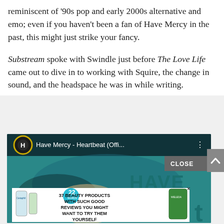reminiscent of '90s pop and early 2000s alternative and emo; even if you haven't been a fan of Have Mercy in the past, this might just strike your fancy.
Substream spoke with Swindle just before The Love Life came out to dive in to working with Squire, the change in sound, and the headspace he was in while writing.
[Figure (screenshot): YouTube video thumbnail for 'Have Mercy - Heartbeat (Offi...' with an advertisement overlay showing '37 Beauty Products With Such Good Reviews You Might Want To Try Them Yourself' with Cetaphil and Weleda products and a CLOSE button.]